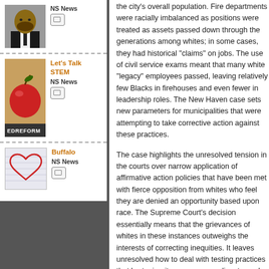NS News
Let's Talk STEM
NS News
EDREFORM
Buffalo
NS News
the city's overall population. Fire departments were racially imbalanced as positions were treated as assets passed down through the generations among whites; in some cases, they had historical "claims" on jobs. The use of civil service exams meant that many white "legacy" employees passed, leaving relatively few Blacks in firehouses and even fewer in leadership roles. The New Haven case sets new parameters for municipalities that were attempting to take corrective action against these practices.
The case highlights the unresolved tension in the courts over narrow application of affirmative action policies that have been met with fierce opposition from whites who feel they are denied an opportunity based upon race. The Supreme Court's decision essentially means that the grievances of whites in these instances outweighs the interests of correcting inequities. It leaves unresolved how to deal with testing practices that hurt minority or women applicants, and that create inequities in the workforce.
The ruling also illustrates how much the Court is polarized on both ends of the ideological spectrum. The sole Black justice on the court, Clarence Thomas, ruled against the Black plaintiffs and wrote that the New Haven exam was race-neutral. Thomas has persistently opposed policies that v...